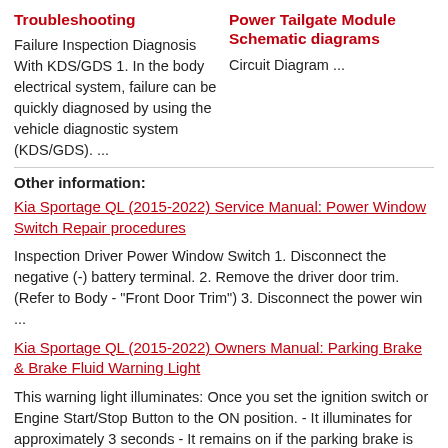Troubleshooting
Power Tailgate Module Schematic diagrams
Failure Inspection Diagnosis With KDS/GDS 1. In the body electrical system, failure can be quickly diagnosed by using the vehicle diagnostic system (KDS/GDS). ...
Circuit Diagram ...
Other information:
Kia Sportage QL (2015-2022) Service Manual: Power Window Switch Repair procedures
Inspection Driver Power Window Switch 1. Disconnect the negative (-) battery terminal. 2. Remove the driver door trim. (Refer to Body - "Front Door Trim") 3. Disconnect the power win ...
Kia Sportage QL (2015-2022) Owners Manual: Parking Brake & Brake Fluid Warning Light
This warning light illuminates: Once you set the ignition switch or Engine Start/Stop Button to the ON position. - It illuminates for approximately 3 seconds - It remains on if the parking brake is applied. When the parking brake is applied. When the brake fluid level in the reservo ...